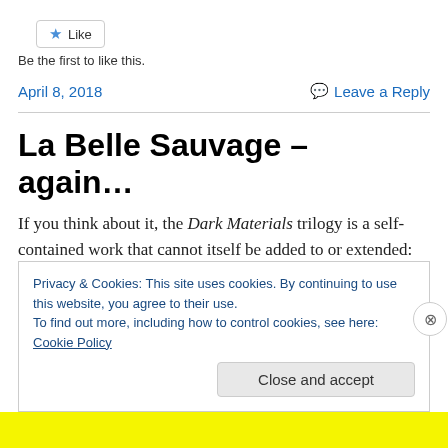[Figure (other): Like button with star icon]
Be the first to like this.
April 8, 2018    Leave a Reply
La Belle Sauvage – again…
If you think about it, the Dark Materials trilogy is a self-contained work that cannot itself be added to or extended: the events of those novels span multiple universes, made
Privacy & Cookies: This site uses cookies. By continuing to use this website, you agree to their use.
To find out more, including how to control cookies, see here: Cookie Policy
Close and accept